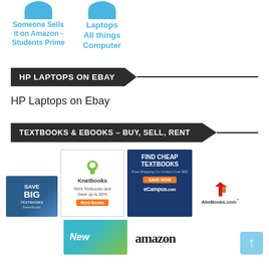[Figure (infographic): Two blue text blocks at top: 'Someone Sells it on Amazon - Students Prime' and 'Laptops All things Computer' with circular icons above each]
HP LAPTOPS ON EBAY
HP Laptops on Ebay
TEXTBOOKS & EBOOKS – BUY, SELL, RENT
[Figure (infographic): Row of advertiser logos/banners: BiggerBooks 'SAVE BIG on TEXTBOOKS', Knetbooks 'Rent Textbooks and Save up to 85%', eCampus.com 'FIND CHEAP TEXTBOOKS Free Shipping On Orders Over $35 SAVE NOW', AbeBooks.com logo with red bird]
[Figure (infographic): Second row: partial 'New' blue/green banner image, amazon logo text, and a light blue scroll-up arrow button]